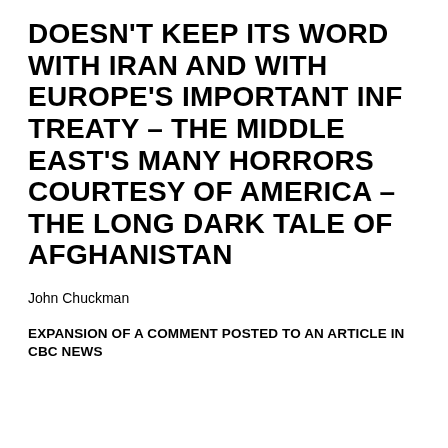DOESN'T KEEP ITS WORD WITH IRAN AND WITH EUROPE'S IMPORTANT INF TREATY – THE MIDDLE EAST'S MANY HORRORS COURTESY OF AMERICA – THE LONG DARK TALE OF AFGHANISTAN
John Chuckman
EXPANSION OF A COMMENT POSTED TO AN ARTICLE IN CBC NEWS